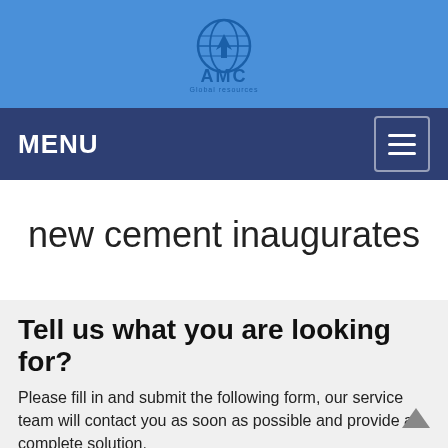[Figure (logo): AMC Global company logo with globe icon, white on blue background]
MENU
new cement inaugurates
Tell us what you are looking for?
Please fill in and submit the following form, our service team will contact you as soon as possible and provide a complete solution.